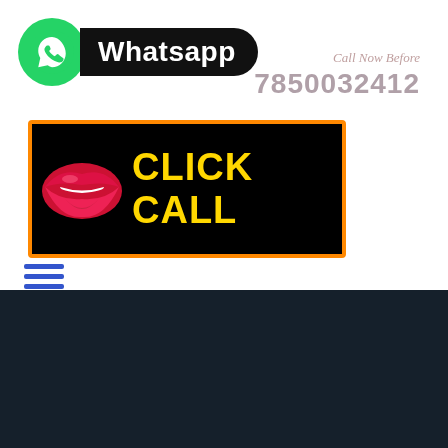[Figure (logo): WhatsApp logo with green circle icon and black rounded label reading 'Whatsapp']
Call Now Before
7850032412
[Figure (illustration): Black banner with orange border showing red lips icon on left and yellow text 'CLICK CALL' on right]
[Figure (other): Hamburger menu icon with three blue horizontal lines]
Durg Call Girl
Gariaband Call Girl
Janjgir Champa Call Girl
Jashpur Call Girl
Kabirdham Call Girl
Kanker Call Girl